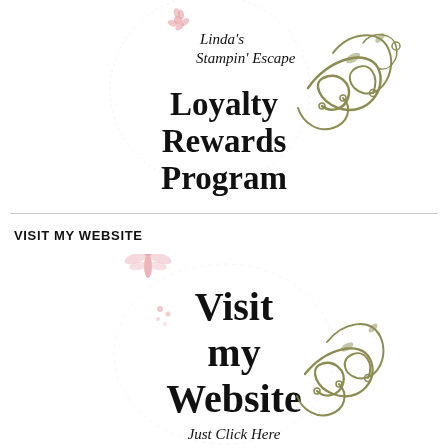[Figure (logo): Linda's Stampin' Escape Loyalty Rewards Program logo with decorative olive green swirl and pink floral element]
VISIT MY WEBSITE
[Figure (logo): Visit my Website - Just Click Here logo with olive green swirl and pink dragonfly decoration]